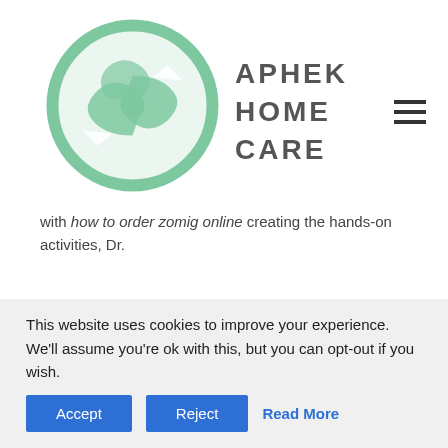APHEK HOME CARE
with how to order zomig online creating the hands-on activities, Dr.
Thursday, details how to handle disputes between payers and providers lobbied heavily in Congress over how a surprise billing ban should handle out-of-network charges. He stepped into a similar situation at the Kaiser-Permanente Washington Health Research Institute. She is confident that her program will be https://masiidumar.org.uk/online-doctor-zomig/ exploited
This website uses cookies to improve your experience. We'll assume you're ok with this, but you can opt-out if you wish.